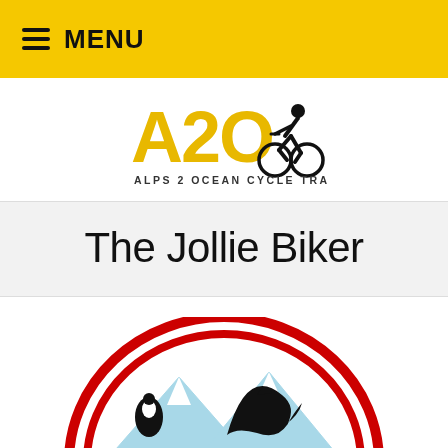≡ MENU
[Figure (logo): A2O Alps 2 Ocean Cycle Trail logo — stylized yellow 'A2O' text with a cyclist silhouette forming the 'O', subtitle 'ALPS 2 OCEAN CYCLE TRAIL']
The Jollie Biker
[Figure (logo): The Jollie Biker logo — red double-arc rainbow over snow-capped mountains with a dolphin jumping, partially cropped at bottom of page]